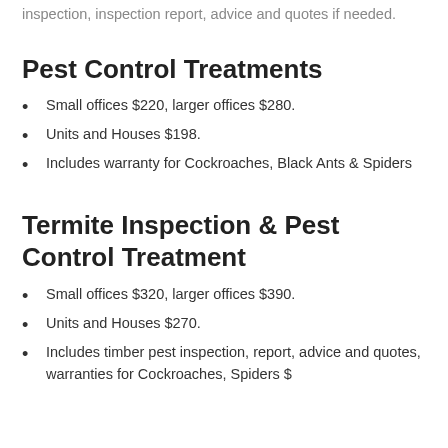inspection, inspection report, advice and quotes if needed.
Pest Control Treatments
Small offices $220, larger offices $280.
Units and Houses $198.
Includes warranty for Cockroaches, Black Ants & Spiders
Termite Inspection & Pest Control Treatment
Small offices $320, larger offices $390.
Units and Houses $270.
Includes timber pest inspection, report, advice and quotes, warranties for Cockroaches, Spiders $